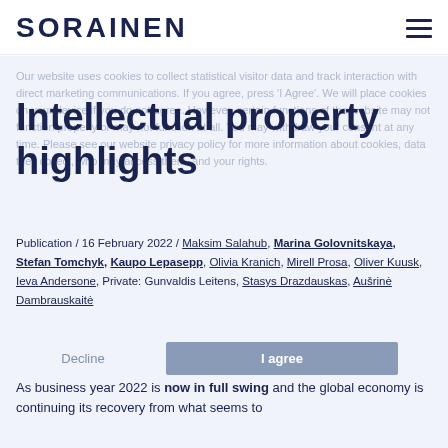SORAINEN
Our website uses cookies to collect statistical visitor data and track interaction with direct marketing communications. If you agree, press 'I Agree'. We will place cookies on your device if you do not agree. However, certain functions of the website may not function properly or may not function at all. You may withdraw your consent at any time. Please see our website privacy policy for more information about cookies, data they collect, who may access them, and your rights.
Intellectual property highlights
Publication / 16 February 2022 / Maksim Salahub, Marina Golovnitskaya, Stefan Tomchyk, Kaupo Lepasepp, Olivia Kranich, Mirell Prosa, Oliver Kuusk, Ieva Andersone, Private: Gunvaldis Leitens, Stasys Drazdauskas, Aušrinė Dambrauskaitė
As business year 2022 is now in full swing and the global economy is continuing its recovery from what seems to be a long, the most period of the pandemic. Sorainen...